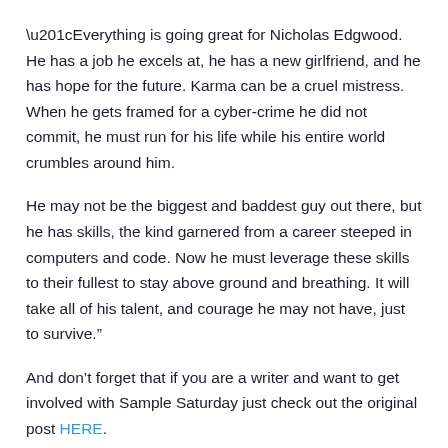“Everything is going great for Nicholas Edgwood. He has a job he excels at, he has a new girlfriend, and he has hope for the future. Karma can be a cruel mistress.  When he gets framed for a cyber-crime he did not commit, he must run for his life while his entire world crumbles around him.
He may not be the biggest and baddest guy out there, but he has skills, the kind garnered from a career steeped in computers and code. Now he must leverage these skills to their fullest to stay above ground and breathing. It will take all of his talent, and courage he may not have, just to survive.”
And don’t forget that if you are a writer and want to get involved with Sample Saturday just check out the original post HERE.